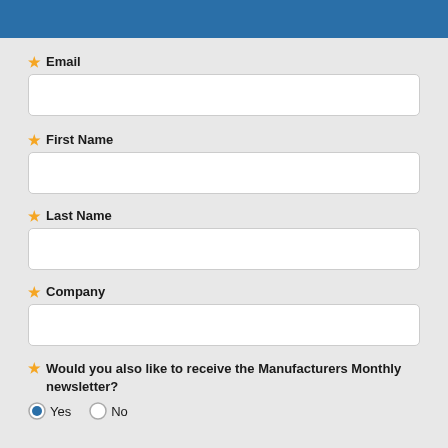* Email
* First Name
* Last Name
* Company
* Would you also like to receive the Manufacturers Monthly newsletter?
Yes   No